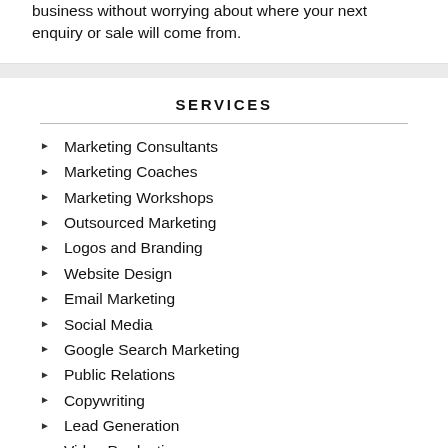business without worrying about where your next enquiry or sale will come from.
SERVICES
Marketing Consultants
Marketing Coaches
Marketing Workshops
Outsourced Marketing
Logos and Branding
Website Design
Email Marketing
Social Media
Google Search Marketing
Public Relations
Copywriting
Lead Generation
Video Production